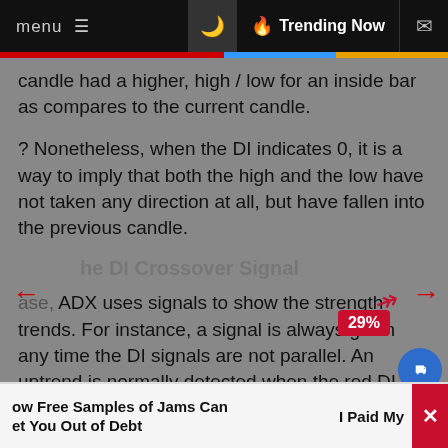menu  ≡   🌙   🔥 Trending Now   ✉
candle had a higher, high / low for an inside bar as compares to the current candle.
? Nonetheless, when the DI indicates 0, it is a way to imply that both the high and the low have not taken any direction at all, but have fallen into the previous candle.
he DI Crossover Signal
ase, ADX uses signals to show the strength trends. For instance, a signal is always given any time the DI signals are not parallel. An uptrend is normally detected when the red DI line crosses the green DI line. The uptrend, in this case, means that the highs and lov the previous candles are both moving higher. Noneth n an opposite situation, it shows that the lows and hig
ow Free Samples of Jams Can et You Out of Debt    I Paid My  ×